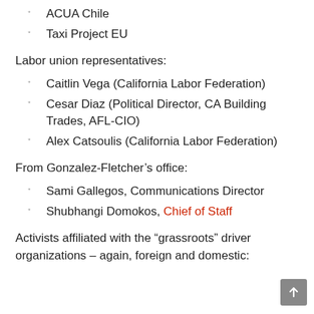ACUA Chile
Taxi Project EU
Labor union representatives:
Caitlin Vega (California Labor Federation)
Cesar Diaz (Political Director, CA Building Trades, AFL-CIO)
Alex Catsoulis (California Labor Federation)
From Gonzalez-Fletcher's office:
Sami Gallegos, Communications Director
Shubhangi Domokos, Chief of Staff
Activists affiliated with the “grassroots” driver organizations – again, foreign and domestic: